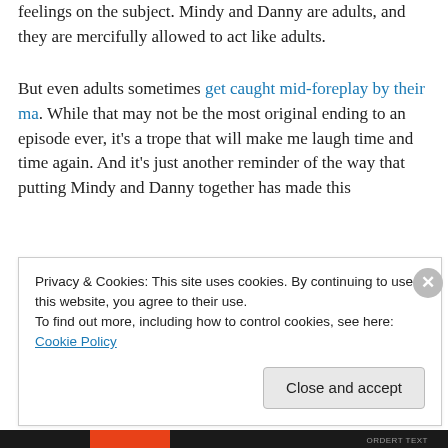feelings on the subject. Mindy and Danny are adults, and they are mercifully allowed to act like adults.
But even adults sometimes get caught mid-foreplay by their ma. While that may not be the most original ending to an episode ever, it's a trope that will make me laugh time and time again. And it's just another reminder of the way that putting Mindy and Danny together has made this
Privacy & Cookies: This site uses cookies. By continuing to use this website, you agree to their use.
To find out more, including how to control cookies, see here: Cookie Policy
Close and accept